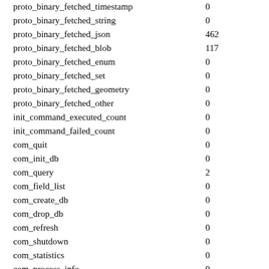| name | value |
| --- | --- |
| proto_binary_fetched_timestamp | 0 |
| proto_binary_fetched_string | 0 |
| proto_binary_fetched_json | 462 |
| proto_binary_fetched_blob | 117 |
| proto_binary_fetched_enum | 0 |
| proto_binary_fetched_set | 0 |
| proto_binary_fetched_geometry | 0 |
| proto_binary_fetched_other | 0 |
| init_command_executed_count | 0 |
| init_command_failed_count | 0 |
| com_quit | 0 |
| com_init_db | 0 |
| com_query | 2 |
| com_field_list | 0 |
| com_create_db | 0 |
| com_drop_db | 0 |
| com_refresh | 0 |
| com_shutdown | 0 |
| com_statistics | 0 |
| com_process_info | 0 |
| com_connect | 0 |